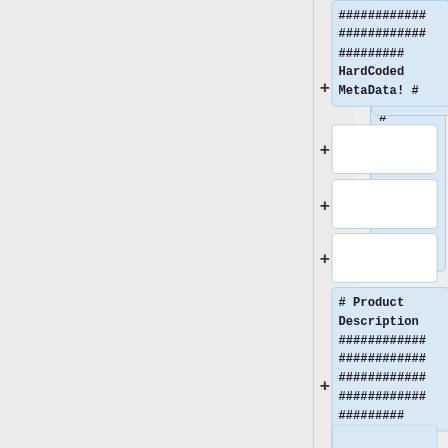[Figure (screenshot): UI screenshot showing a tree/list view with expandable cards. Left side is a grey panel. Right side shows several collapsed and expanded nodes. First expanded card contains monospace text: '############ ############ ######### HardCoded MetaData! #'. Three collapsed empty white cards follow. Then another expanded card with '# Product Description ############ ############ ############ ############ ########'. A partially visible card at the bottom.]